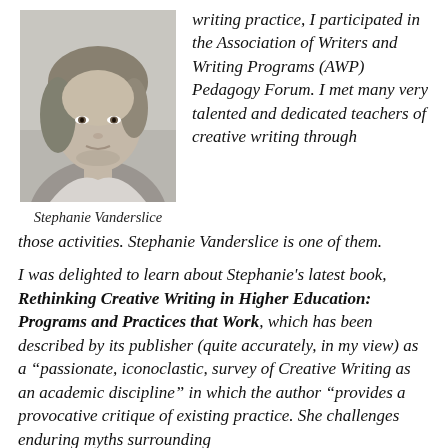[Figure (photo): Black and white headshot photo of Stephanie Vanderslice, a woman with medium-length light hair]
Stephanie Vanderslice
writing practice, I participated in the Association of Writers and Writing Programs (AWP) Pedagogy Forum. I met many very talented and dedicated teachers of creative writing through those activities. Stephanie Vanderslice is one of them.
I was delighted to learn about Stephanie's latest book, Rethinking Creative Writing in Higher Education: Programs and Practices that Work, which has been described by its publisher (quite accurately, in my view) as a “passionate, iconoclastic, survey of Creative Writing as an academic discipline” in which the author “provides a provocative critique of existing practice. She challenges enduring myths surrounding